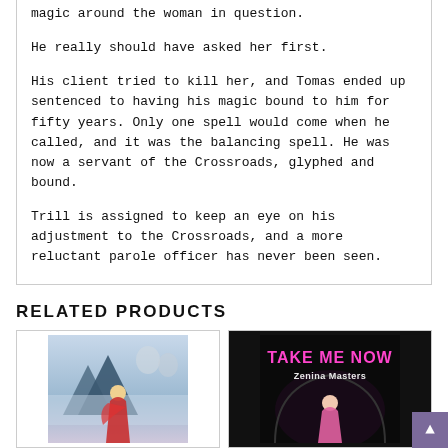magic around the woman in question.
He really should have asked her first.
His client tried to kill her, and Tomas ended up sentenced to having his magic bound to him for fifty years. Only one spell would come when he called, and it was the balancing spell. He was now a servant of the Crossroads, glyphed and bound.
Trill is assigned to keep an eye on his adjustment to the Crossroads, and a more reluctant parole officer has never been seen.
RELATED PRODUCTS
[Figure (illustration): Book cover showing a fantasy scene with a blonde woman in a red dress, misty blue mountains, and ghostly figures in the background.]
[Figure (illustration): Book cover for 'Take Me Now' by Zenina Masters, showing a woman in a pink dress against a dark background with pink text.]